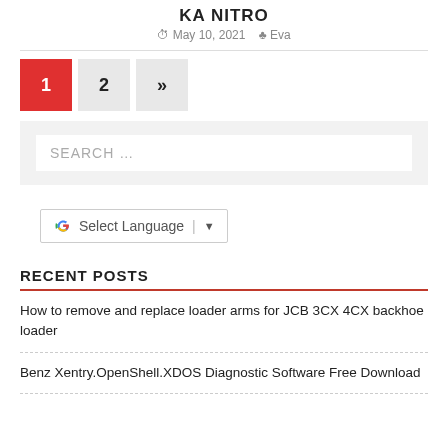KA NITRO
May 10, 2021   Eva
1  2  »
SEARCH ...
[Figure (other): Google Translate widget with Select Language label and dropdown arrow]
RECENT POSTS
How to remove and replace loader arms for JCB 3CX 4CX backhoe loader
Benz Xentry.OpenShell.XDOS Diagnostic Software Free Download